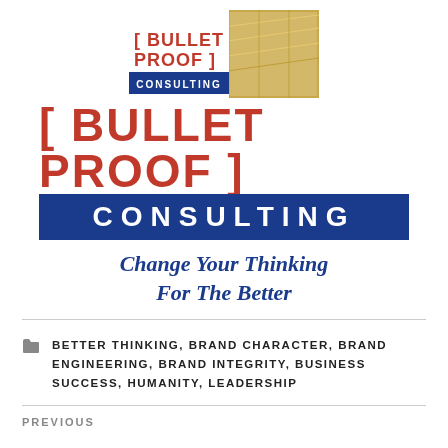[Figure (logo): Bullet Proof Consulting logo — small version with bracket text in red, CONSULTING bar in dark blue, and a decorative gold/silver background image]
[ BULLET PROOF ] CONSULTING — Change Your Thinking For The Better
BETTER THINKING, BRAND CHARACTER, BRAND ENGINEERING, BRAND INTEGRITY, BUSINESS SUCCESS, HUMANITY, LEADERSHIP
PREVIOUS